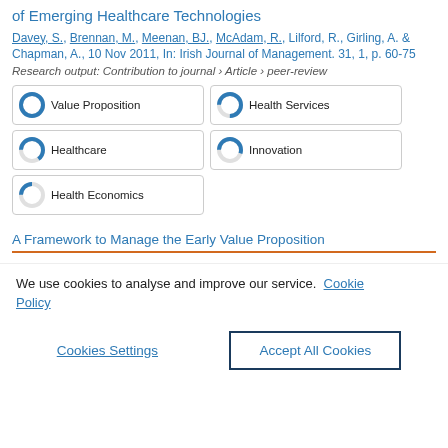of Emerging Healthcare Technologies
Davey, S., Brennan, M., Meenan, BJ., McAdam, R., Lilford, R., Girling, A. & Chapman, A., 10 Nov 2011, In: Irish Journal of Management. 31, 1, p. 60-75
Research output: Contribution to journal › Article › peer-review
[Figure (infographic): Five keyword/topic badges with donut-style percentage indicators: Value Proposition (100%), Health Services (~75%), Healthcare (~65%), Innovation (~55%), Health Economics (~25%)]
A Framework to Manage the Early Value Proposition
We use cookies to analyse and improve our service. Cookie Policy
Cookies Settings | Accept All Cookies